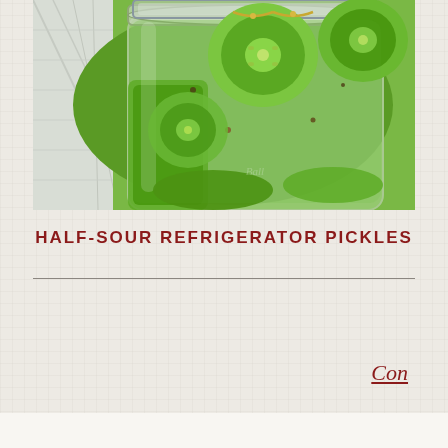[Figure (photo): Close-up photo of a glass mason jar filled with sliced cucumbers (pickles) in brine, with visible spices. A white cloth/towel is visible in the background.]
HALF-SOUR REFRIGERATOR PICKLES
Con